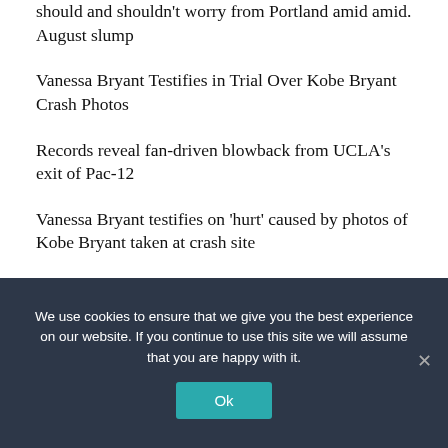should and shouldn't worry from Portland amid amid. August slump
Vanessa Bryant Testifies in Trial Over Kobe Bryant Crash Photos
Records reveal fan-driven blowback from UCLA's exit of Pac-12
Vanessa Bryant testifies on 'hurt' caused by photos of Kobe Bryant taken at crash site
Which Seahawks saw their stocks rise, fall or stay the same after loss to Bears
We use cookies to ensure that we give you the best experience on our website. If you continue to use this site we will assume that you are happy with it.